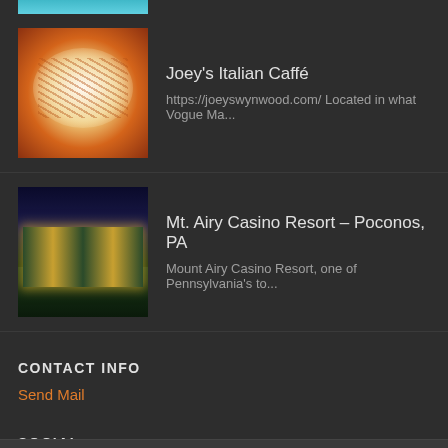[Figure (photo): Partial cropped image at top of page, teal/cyan colored]
Joey's Italian Caffé
https://joeyswynwood.com/ Located in what Vogue Ma...
Mt. Airy Casino Resort – Poconos, PA
Mount Airy Casino Resort, one of Pennsylvania's to...
CONTACT INFO
Send Mail
SOCIAL
[Figure (logo): Facebook logo icon, blue square with white f letter]